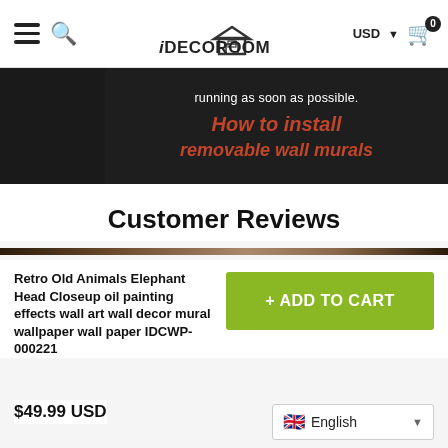iDECOROOM — USD — Cart (0)
[Figure (screenshot): Dark video thumbnail showing text: 'running as soon as possible.' and 'How to install removable wall murals' in orange italic bold text on dark background]
Customer Reviews
Retro Old Animals Elephant Head Closeup oil painting effects wall art wall decor mural wallpaper wall paper IDCWP-000221
+ ADD TO CART
$49.99 USD
English